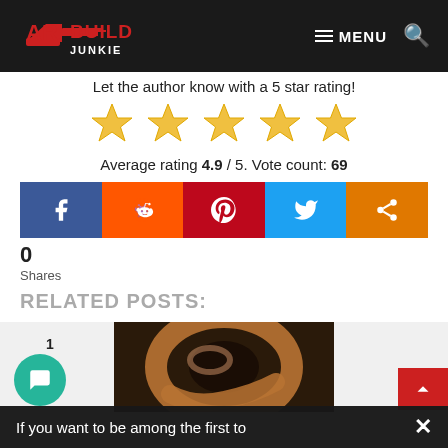AR Build Junkie — MENU [search]
Let the author know with a 5 star rating!
[Figure (other): Five gold star rating icons]
Average rating 4.9 / 5. Vote count: 69
[Figure (infographic): Social share buttons: Facebook, Reddit, Pinterest, Twitter, and generic share button]
0
Shares
RELATED POSTS:
[Figure (photo): Close-up photo of a copper washer/ring on dark background]
If you want to be among the first to